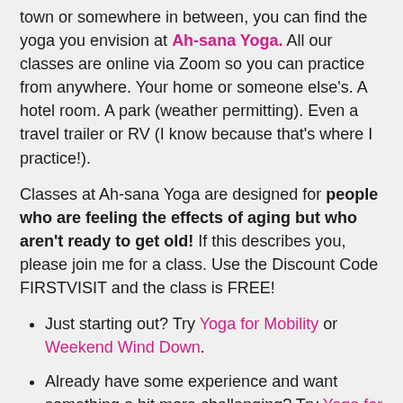town or somewhere in between, you can find the yoga you envision at Ah-sana Yoga. All our classes are online via Zoom so you can practice from anywhere. Your home or someone else's. A hotel room. A park (weather permitting). Even a travel trailer or RV (I know because that's where I practice!).
Classes at Ah-sana Yoga are designed for people who are feeling the effects of aging but who aren't ready to get old! If this describes you, please join me for a class. Use the Discount Code FIRSTVISIT and the class is FREE!
Just starting out? Try Yoga for Mobility or Weekend Wind Down.
Already have some experience and want something a bit more challenging? Try Yoga for Strength & Mobility or Good Old Vinyasa Flow.
NOTE: To participate in these classes you should be able to get up and down from the floor with little or